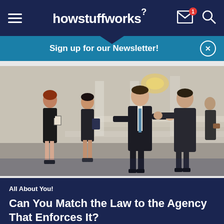howstuffworks
Sign up for our Newsletter!
[Figure (photo): Two men in business suits shaking hands on courthouse steps, with two women in background also in business attire carrying documents]
All About You!
Can You Match the Law to the Agency That Enforces It?